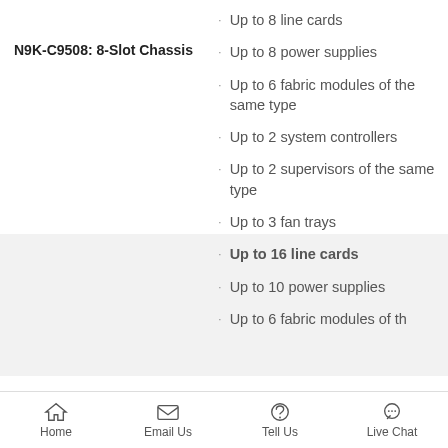Up to 8 line cards
Up to 8 power supplies
Up to 6 fabric modules of the same type
N9K-C9508: 8-Slot Chassis
Up to 2 system controllers
Up to 2 supervisors of the same type
Up to 3 fan trays
Up to 16 line cards
Up to 10 power supplies
Up to 6 fabric modules of th
Home  Email Us  Tell Us  Live Chat